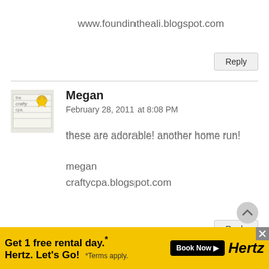www.foundintheali.blogspot.com
Reply
Megan
February 28, 2011 at 8:08 PM
these are adorable! another home run!
megan
craftycpa.blogspot.com
Reply
Michelle @ Delicate Construction
March 1, 2011 at 12:29 AM
[Figure (screenshot): Advertisement banner for Hertz car rental: 'Get 1 free rental day.* Hertz. Let's Go!' with Book Now button and *Terms apply.]